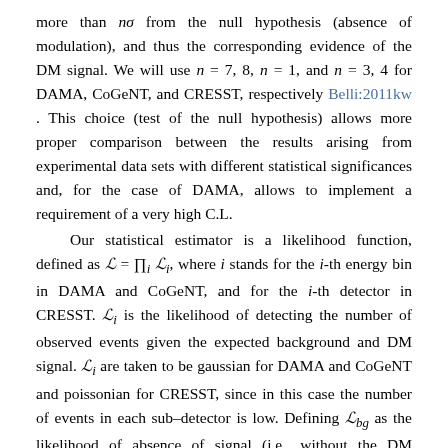more than nσ from the null hypothesis (absence of modulation), and thus the corresponding evidence of the DM signal. We will use n = 7, 8, n = 1, and n = 3, 4 for DAMA, CoGeNT, and CRESST, respectively Belli:2011kw. This choice (test of the null hypothesis) allows more proper comparison between the results arising from experimental data sets with different statistical significances and, for the case of DAMA, allows to implement a requirement of a very high C.L.
Our statistical estimator is a likelihood function, defined as L = ∏_i L_i, where i stands for the i-th energy bin in DAMA and CoGeNT, and for the i-th detector in CRESST. L_i is the likelihood of detecting the number of observed events given the expected background and DM signal. L_i are taken to be gaussian for DAMA and CoGeNT and poissonian for CRESST, since in this case the number of events in each sub–detector is low. Defining L_bg as the likelihood of absence of signal (i.e., without the DM contribution), the function ỹ = −2 ln L_bg/L is assumed to